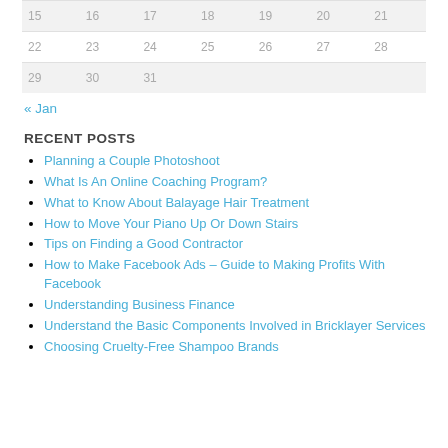| 15 | 16 | 17 | 18 | 19 | 20 | 21 |
| 22 | 23 | 24 | 25 | 26 | 27 | 28 |
| 29 | 30 | 31 |  |  |  |  |
« Jan
RECENT POSTS
Planning a Couple Photoshoot
What Is An Online Coaching Program?
What to Know About Balayage Hair Treatment
How to Move Your Piano Up Or Down Stairs
Tips on Finding a Good Contractor
How to Make Facebook Ads – Guide to Making Profits With Facebook
Understanding Business Finance
Understand the Basic Components Involved in Bricklayer Services
Choosing Cruelty-Free Shampoo Brands